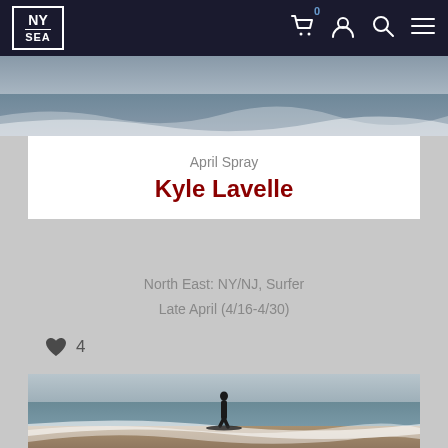NY/SEA navigation bar with logo, cart (0), account, search, and menu icons
[Figure (photo): Top cropped surf/ocean photo strip showing water with spray]
April Spray
Kyle Lavelle
North East: NY/NJ, Surfer
Late April (4/16-4/30)
♥ 4
[Figure (photo): Surfer in black wetsuit standing on surfboard riding a wave on a gray overcast day, ocean and sandy beach visible]